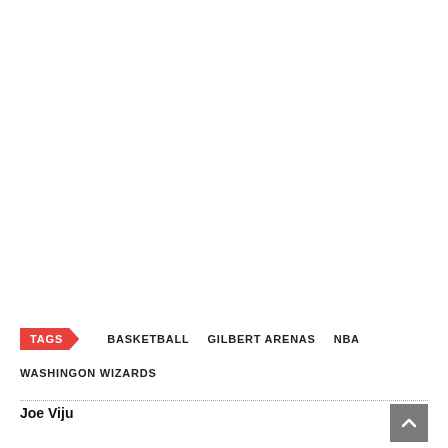TAGS  BASKETBALL  GILBERT ARENAS  NBA  WASHINGON WIZARDS
Joe Viju